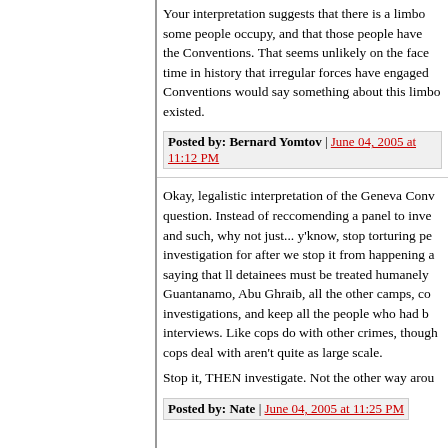Your interpretation suggests that there is a limbo some people occupy, and that those people have the Conventions. That seems unlikely on the face time in history that irregular forces have engaged Conventions would say something about this limbo existed.
Posted by: Bernard Yomtov | June 04, 2005 at 11:12 PM
Okay, legalistic interpretation of the Geneva Conv question. Instead of reccomending a panel to inve and such, why not just... y'know, stop torturing pe investigation for after we stop it from happening a saying that ll detainees must be treated humanely Guantanamo, Abu Ghraib, all the other camps, co investigations, and keep all the people who had b interviews. Like cops do with other crimes, though cops deal with aren't quite as large scale.
Stop it, THEN investigate. Not the other way arou
Posted by: Nate | June 04, 2005 at 11:25 PM
BTW...